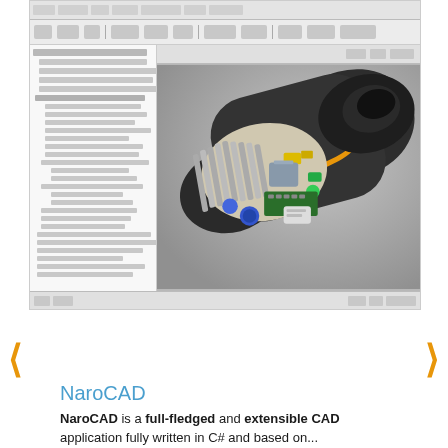[Figure (screenshot): NaroCAD software screenshot showing a 3D CAD model of an electric shaver/trimmer cut in cross-section, revealing internal mechanical components. The interface shows a model tree on the left sidebar and the 3D rendered model on the right in a dark gray viewport. The shaver body has an orange accent ring and shows colorful internal parts (blue, yellow, green, silver components).]
‹
›
NaroCAD
NaroCAD is a full-fledged and extensible CAD application fully written in C# and based on...